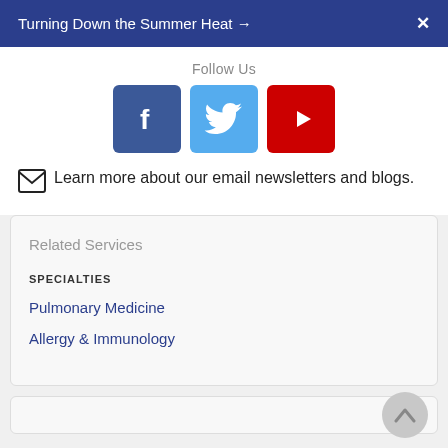Turning Down the Summer Heat →  ✕
Follow Us
[Figure (infographic): Social media icons: Facebook (blue square with white f), Twitter (light blue square with white bird), YouTube (red square with white play button)]
Learn more about our email newsletters and blogs.
Related Services
SPECIALTIES
Pulmonary Medicine
Allergy & Immunology